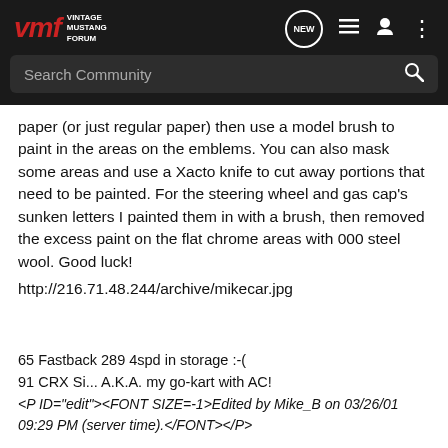VMF VINTAGE MUSTANG FORUM | NEW | [list icon] | [user icon] | [menu icon] | Search Community
paper (or just regular paper) then use a model brush to paint in the areas on the emblems. You can also mask some areas and use a Xacto knife to cut away portions that need to be painted. For the steering wheel and gas cap's sunken letters I painted them in with a brush, then removed the excess paint on the flat chrome areas with 000 steel wool. Good luck!
http://216.71.48.244/archive/mikecar.jpg
65 Fastback 289 4spd in storage :-(
91 CRX Si... A.K.A. my go-kart with AC!
<P ID="edit"><FONT SIZE=-1>Edited by Mike_B on 03/26/01 09:29 PM (server time).</FONT></P>